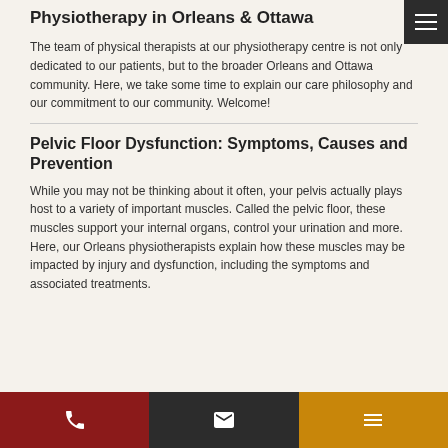Physiotherapy in Orleans & Ottawa
The team of physical therapists at our physiotherapy centre is not only dedicated to our patients, but to the broader Orleans and Ottawa community. Here, we take some time to explain our care philosophy and our commitment to our community. Welcome!
Pelvic Floor Dysfunction: Symptoms, Causes and Prevention
While you may not be thinking about it often, your pelvis actually plays host to a variety of important muscles. Called the pelvic floor, these muscles support your internal organs, control your urination and more. Here, our Orleans physiotherapists explain how these muscles may be impacted by injury and dysfunction, including the symptoms and associated treatments.
Phone | Email | Menu